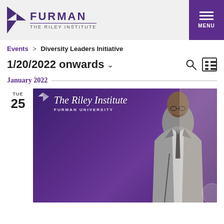[Figure (logo): Furman University - The Riley Institute logo with purple arrowhead/diamond icon]
Events > Diversity Leaders Initiative
1/20/2022 onwards
January 2022
TUE 25
[Figure (photo): A smiling man in a grey suit standing in front of a purple The Riley Institute at Furman University banner]